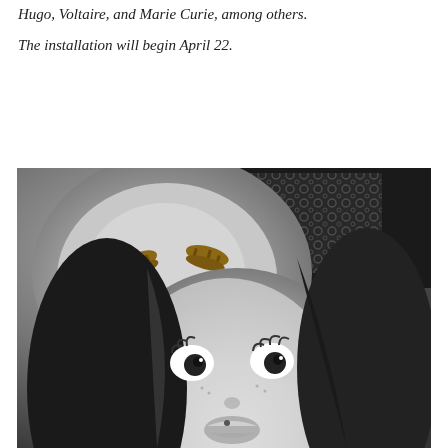Hugo, Voltaire, and Marie Curie, among others.
The installation will begin April 22.
[Figure (photo): A black-and-white photobooth-style collage showing a girl making a funny face (puckering lips, wide eyes) in the foreground, and a child with sandals digitally placed on their face features in the upper left background. The person in the background wears a lace-patterned top.]